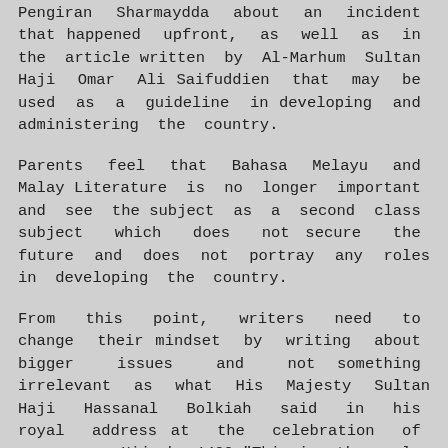Pengiran Sharmaydda about an incident that happened upfront, as well as in the article written by Al-Marhum Sultan Haji Omar Ali Saifuddien that may be used as a guideline in developing and administering the country.
Parents feel that Bahasa Melayu and Malay Literature is no longer important and see the subject as a second class subject which does not secure the future and does not portray any roles in developing the country.
From this point, writers need to change their mindset by writing about bigger issues and not something irrelevant as what His Majesty Sultan Haji Hassanal Bolkiah said in his royal address at the celebration of new year Hijrah 1429."This is the role of awareness. It must and needs to be stimulated and because of that I applaud the propagation and motivation steps in whatever form that aim to raise awareness in the community to